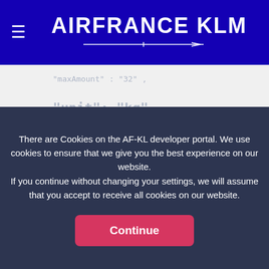AIRFRANCE KLM
[Figure (screenshot): Code block showing JSON-like snippet with faded monospace text: 'maxAmount': '32', 'unit': 'kg', }, ],]
There are Cookies on the AF-KL developer portal. We use cookies to ensure that we give you the best experience on our website.
If you continue without changing your settings, we will assume that you accept to receive all cookies on our website.
Continue